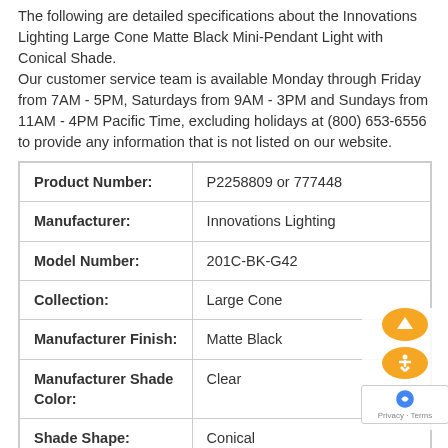The following are detailed specifications about the Innovations Lighting Large Cone Matte Black Mini-Pendant Light with Conical Shade. Our customer service team is available Monday through Friday from 7AM - 5PM, Saturdays from 9AM - 3PM and Sundays from 11AM - 4PM Pacific Time, excluding holidays at (800) 653-6556 to provide any information that is not listed on our website.
| Product Number: | P2258809 or 777448 |
| Manufacturer: | Innovations Lighting |
| Model Number: | 201C-BK-G42 |
| Collection: | Large Cone |
| Manufacturer Finish: | Matte Black |
| Manufacturer Shade Color: | Clear |
| Shade Shape: | Conical |